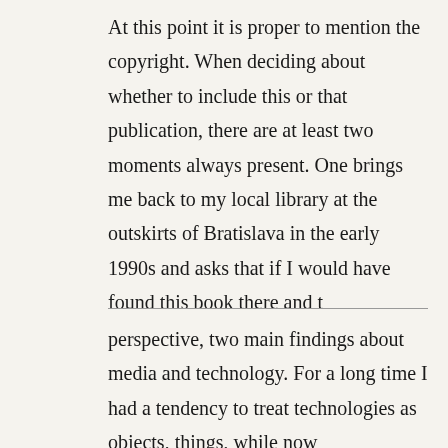At this point it is proper to mention the copyright. When deciding about whether to include this or that publication, there are at least two moments always present. One brings me back to my local library at the outskirts of Bratislava in the early 1990s and asks that if I would have found this book there and t
perspective, two main findings about media and technology. For a long time I had a tendency to treat technologies as objects, things, while now